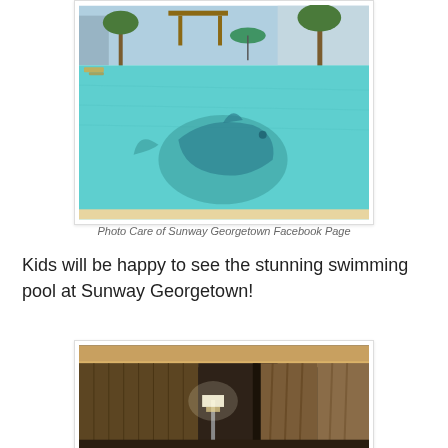[Figure (photo): Outdoor swimming pool with turquoise water, mosaic fish/whale design on pool floor, palm trees, lounge chairs, and pergola structure in background at Sunway Georgetown hotel]
Photo Care of Sunway Georgetown Facebook Page
Kids will be happy to see the stunning swimming pool at Sunway Georgetown!
[Figure (photo): Hotel room interior with warm lighting, wooden panel walls, floor lamp, and dark brown curtains at Sunway Georgetown]